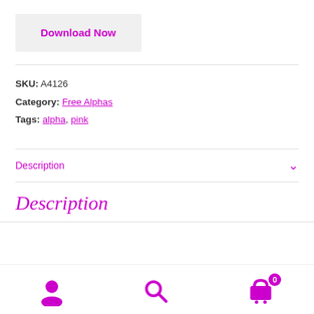Download Now
SKU: A4126
Category: Free Alphas
Tags: alpha, pink
Description
Description
user icon, search icon, cart icon with badge 0